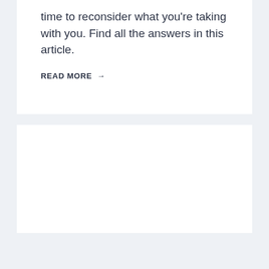time to reconsider what you're taking with you. Find all the answers in this article.
READ MORE →
[Figure (other): Empty white card panel below the read more link]